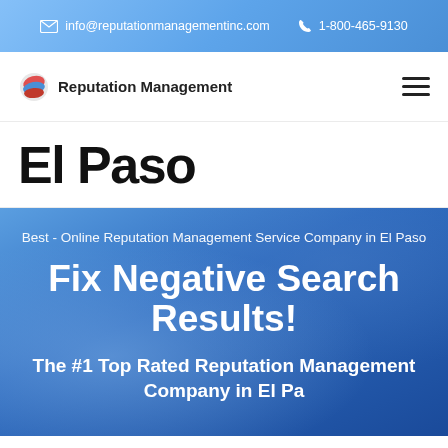info@reputationmanagementinc.com  1-800-465-9130
[Figure (logo): Reputation Management logo with globe icon]
El Paso
Best - Online Reputation Management Service Company in El Paso
Fix Negative Search Results!
The #1 Top Rated Reputation Management Company in El Paso